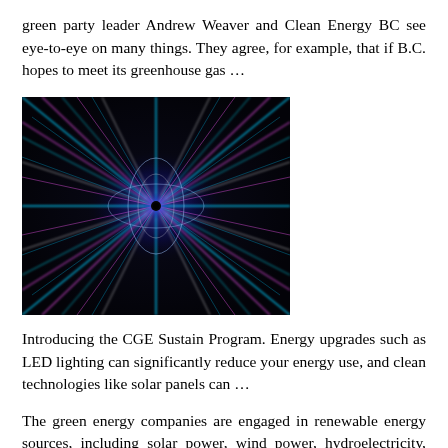green party leader Andrew Weaver and Clean Energy BC see eye-to-eye on many things. They agree, for example, that if B.C. hopes to meet its greenhouse gas …
[Figure (photo): Abstract digital art showing a glowing fractal or energy burst pattern with cyan/blue and magenta/pink light rays radiating from a central point on a dark background.]
Introducing the CGE Sustain Program. Energy upgrades such as LED lighting can significantly reduce your energy use, and clean technologies like solar panels can …
The green energy companies are engaged in renewable energy sources, including solar power, wind power, hydroelectricity, geothermal energy, biomass, biofuels, and tidal/wave energy; clean